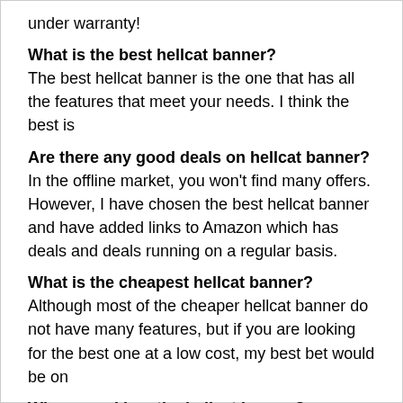under warranty!
What is the best hellcat banner?
The best hellcat banner is the one that has all the features that meet your needs. I think the best is
Are there any good deals on hellcat banner?
In the offline market, you won't find many offers. However, I have chosen the best hellcat banner and have added links to Amazon which has deals and deals running on a regular basis.
What is the cheapest hellcat banner?
Although most of the cheaper hellcat banner do not have many features, but if you are looking for the best one at a low cost, my best bet would be on
Where can I buy the hellcat banner?
There are several places where you can buy it, but in my